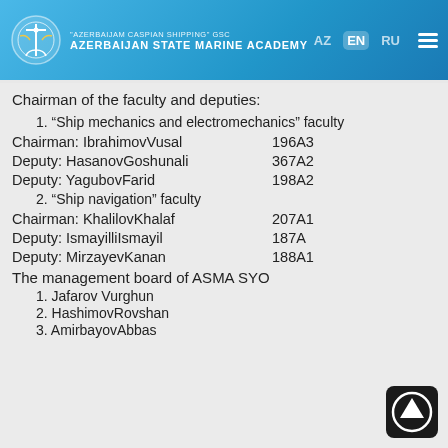AZERBAIJAN CASPIAN SHIPPING GSC | AZERBAIJAN STATE MARINE ACADEMY | AZ EN RU
Chairman of the faculty and deputies:
1. “Ship mechanics and electromechanics” faculty
Chairman: IbrahimovVusal	196A3
Deputy: HasanovGoshunali	367A2
Deputy: YagubovFarid	198A2
2. “Ship navigation” faculty
Chairman: KhalilovKhalaf	207A1
Deputy: IsmayilliIsmayil	187A
Deputy: MirzayevKanan	188A1
The management board of ASMA SYO
1. Jafarov Vurghun
2. HashimovRovshan
3. AmirbayovAbbas